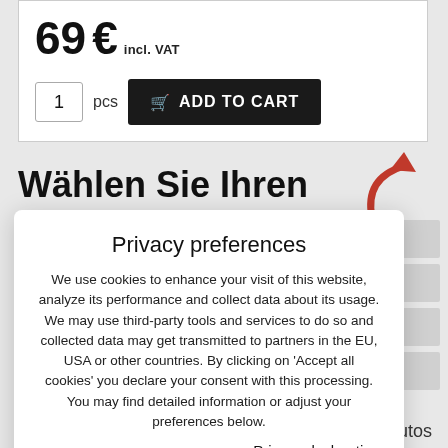69 € incl. VAT
[Figure (screenshot): Add to cart UI with quantity box showing 1, pcs label, and black ADD TO CART button with cart icon]
Wählen Sie Ihren Autotyp
[Figure (illustration): Red curved arrow pointing upward-right]
Privacy preferences
We use cookies to enhance your visit of this website, analyze its performance and collect data about its usage. We may use third-party tools and services to do so and collected data may get transmitted to partners in the EU, USA or other countries. By clicking on 'Accept all cookies' you declare your consent with this processing. You may find detailed information or adjust your preferences below.
Privacy declaration
Show details
Accept all cookies
Autos